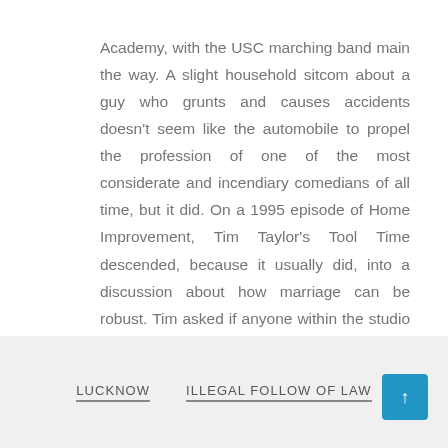Academy, with the USC marching band main the way. A slight household sitcom about a guy who grunts and causes accidents doesn't seem like the automobile to propel the profession of one of the most considerate and incendiary comedians of all time, but it did. On a 1995 episode of Home Improvement, Tim Taylor's Tool Time descended, because it usually did, into a discussion about how marriage can be robust. Tim asked if anyone within the studio viewers had, like him, been tricked into a fight with their significant different. Two guys named "Dave" and "Jim" may relate, and Tim pulled them up on stage.
LUCKNOW   ILLEGAL FOLLOW OF LAW